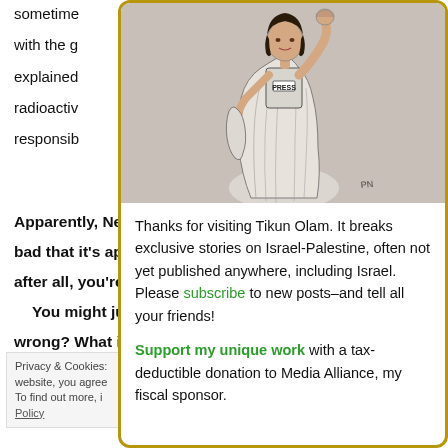sometime
with the g
explained
radioactiv
responsib
Apparently, New
bad that it's app
after all, you're e
 You might justi
wrong?  What if
Privacy & Cookies:
website, you agree
To find out more, i
Policy
[Figure (illustration): Illustration of a woman in a press vest (labeled PRESS) holding her fist raised, styled like the Statue of Liberty, holding a map shape in her other hand. Drawn in black and white ink style on a gray background.]
Thanks for visiting Tikun Olam. It breaks exclusive stories on Israel-Palestine, often not yet published anywhere, including Israel. Please subscribe to new posts–and tell all your friends!

Support my unique work with a tax-deductible donation to Media Alliance, my fiscal sponsor.